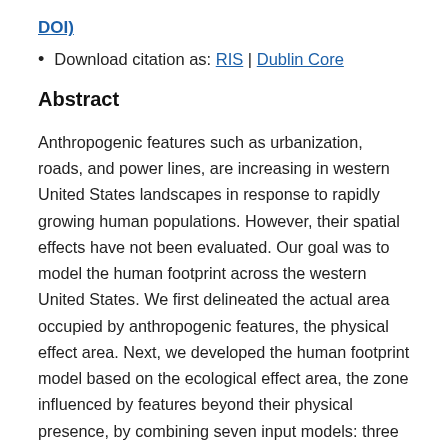DOI)
Download citation as: RIS | Dublin Core
Abstract
Anthropogenic features such as urbanization, roads, and power lines, are increasing in western United States landscapes in response to rapidly growing human populations. However, their spatial effects have not been evaluated. Our goal was to model the human footprint across the western United States. We first delineated the actual area occupied by anthropogenic features, the physical effect area. Next, we developed the human footprint model based on the ecological effect area, the zone influenced by features beyond their physical presence, by combining seven input models: three models